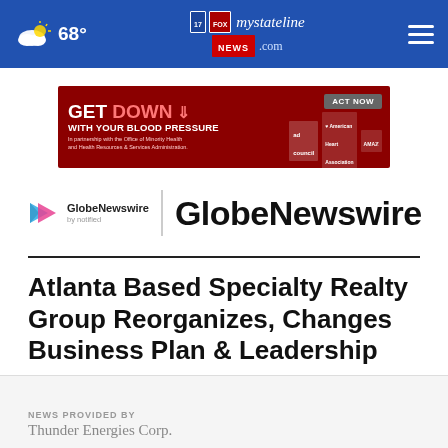68° mystateline.com NEWS
[Figure (screenshot): Advertisement banner: GET DOWN WITH YOUR BLOOD PRESSURE - ACT NOW, featuring ad council, American Heart Association, and AMA logos]
[Figure (logo): GlobeNewswire by notified logo with play-button icon and large GlobeNewswire text]
Atlanta Based Specialty Realty Group Reorganizes, Changes Business Plan & Leadership
NEWS PROVIDED BY
Thunder Energies Corp.